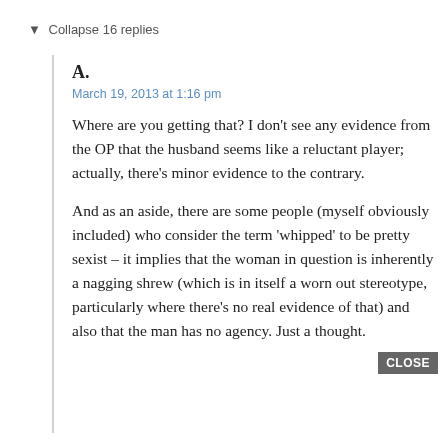▼ Collapse 16 replies
A.
March 19, 2013 at 1:16 pm
Where are you getting that? I don't see any evidence from the OP that the husband seems like a reluctant player; actually, there's minor evidence to the contrary.
And as an aside, there are some people (myself obviously included) who consider the term 'whipped' to be pretty sexist – it implies that the woman in question is inherently a nagging shrew (which is in itself a worn out stereotype, particularly where there's no real evidence of that) and also that the man has no agency. Just a thought.